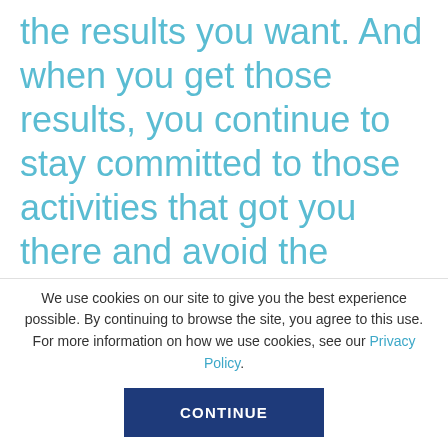the results you want. And when you get those results, you continue to stay committed to those activities that got you there and avoid the temptation to sit on your laurels. I think one of the worst things that can happen to a young entrepreneur is getting
We use cookies on our site to give you the best experience possible. By continuing to browse the site, you agree to this use. For more information on how we use cookies, see our Privacy Policy.
CONTINUE